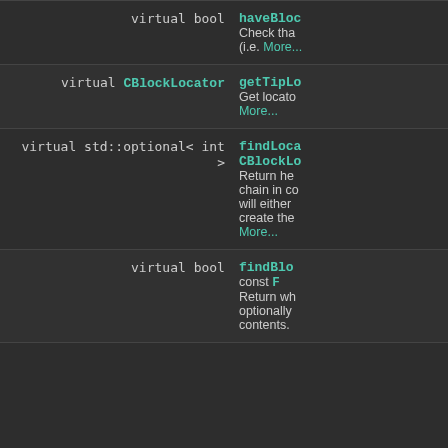| this functi... | haveBloc... Check tha... (i.e. More... |
| virtual CBlockLocator | getTipL... Get locato... More... |
| virtual std::optional< int > | findLoca... CBlockLo... Return he... chain in co... will either... create the... More... |
| virtual bool | findBlo... const F... Return wh... optionally... contents. |